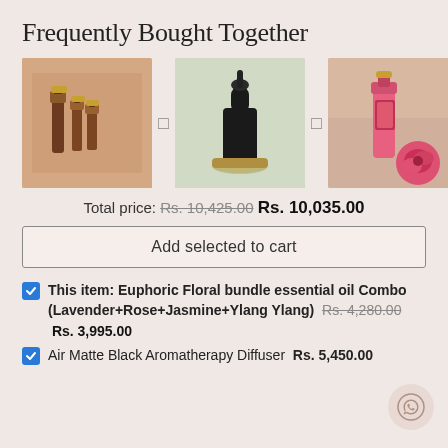Frequently Bought Together
[Figure (photo): Three product images: essential oil bottles set, black matte aromatherapy diffuser, and a rose oil bottle, separated by plus icons]
Total price: Rs. 10,425.00 Rs. 10,035.00
Add selected to cart
This item: Euphoric Floral bundle essential oil Combo (Lavender+Rose+Jasmine+Ylang Ylang) Rs. 4,280.00 Rs. 3,995.00
Air Matte Black Aromatherapy Diffuser Rs. 5,450.00